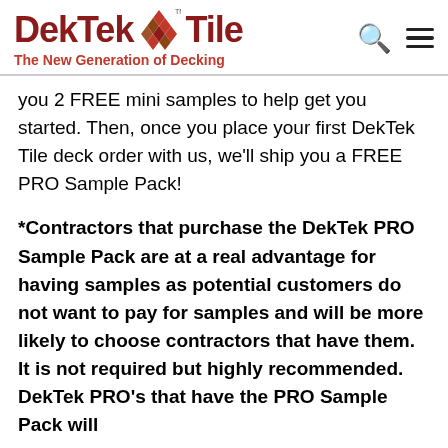DekTek Tile™ — The New Generation of Decking
you 2 FREE mini samples to help get you started. Then, once you place your first DekTek Tile deck order with us, we'll ship you a FREE PRO Sample Pack!
*Contractors that purchase the DekTek PRO Sample Pack are at a real advantage for having samples as potential customers do not want to pay for samples and will be more likely to choose contractors that have them. It is not required but highly recommended. DekTek PRO's that have the PRO Sample Pack will